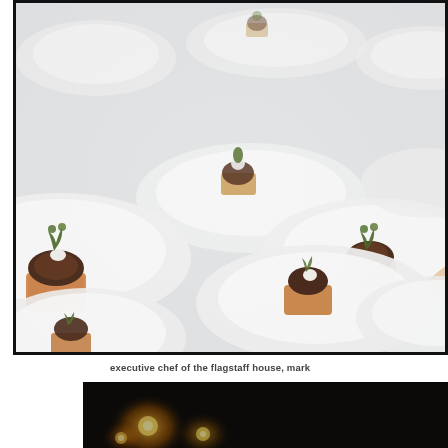[Figure (photo): Multiple white round plates arranged on a white tablecloth, each containing small appetizer portions of meat on toast with herb garnish. A hand is visible reaching toward one of the plates on the right side.]
executive chef of the flagstaff house, mark
[Figure (photo): Dark atmospheric photo showing warm glowing lights, possibly candles or string lights, with a dark background suggesting an evening or night setting.]